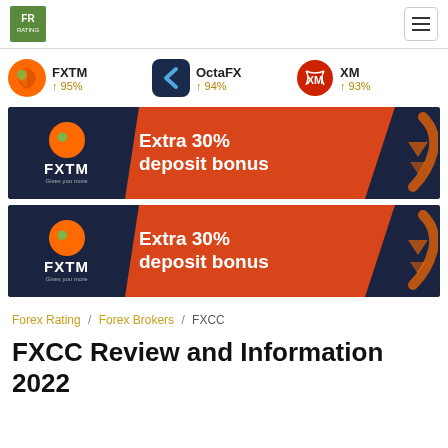FR | Menu
[Figure (infographic): Three broker ratings: FXTM 95%, OctaFX 94%, XM 93% with logos]
[Figure (infographic): FXTM banner ad: Extra 30% deposit bonus on dark navy and red background]
[Figure (infographic): FXTM banner ad (duplicate): Extra 30% deposit bonus on dark navy and red background]
Forex Rating / Forex Brokers / FXCC
FXCC Review and Information 2022